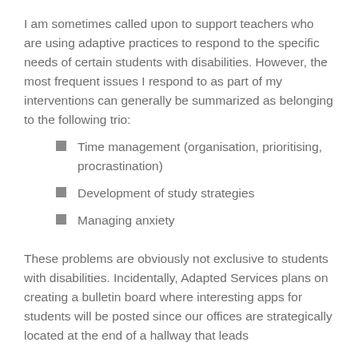I am sometimes called upon to support teachers who are using adaptive practices to respond to the specific needs of certain students with disabilities. However, the most frequent issues I respond to as part of my interventions can generally be summarized as belonging to the following trio:
Time management (organisation, prioritising, procrastination)
Development of study strategies
Managing anxiety
These problems are obviously not exclusive to students with disabilities. Incidentally, Adapted Services plans on creating a bulletin board where interesting apps for students will be posted since our offices are strategically located at the end of a hallway that leads